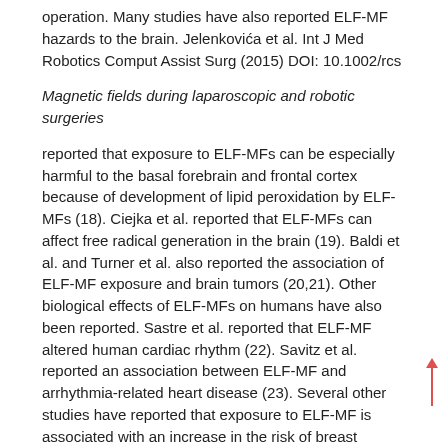operation. Many studies have also reported ELF-MF hazards to the brain. Jelenkovića et al. Int J Med Robotics Comput Assist Surg (2015) DOI: 10.1002/rcs
Magnetic fields during laparoscopic and robotic surgeries
reported that exposure to ELF-MFs can be especially harmful to the basal forebrain and frontal cortex because of development of lipid peroxidation by ELF-MFs (18). Ciejka et al. reported that ELF-MFs can affect free radical generation in the brain (19). Baldi et al. and Turner et al. also reported the association of ELF-MF exposure and brain tumors (20,21). Other biological effects of ELF-MFs on humans have also been reported. Sastre et al. reported that ELF-MF altered human cardiac rhythm (22). Savitz et al. reported an association between ELF-MF and arrhythmia-related heart disease (23). Several other studies have reported that exposure to ELF-MF is associated with an increase in the risk of breast cancer (24–26). Davanipour et al. reported that MF exposure could increase the risk of cognitive dysfunction (27). Numerous studies have been conducted to assess the health effects of ELF-MFs and